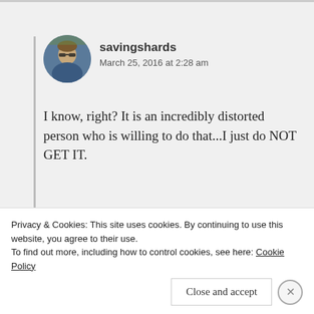savingshards
March 25, 2016 at 2:28 am
I know, right? It is an incredibly distorted person who is willing to do that...I just do NOT GET IT.
Like
Reply
Privacy & Cookies: This site uses cookies. By continuing to use this website, you agree to their use.
To find out more, including how to control cookies, see here: Cookie Policy
Close and accept